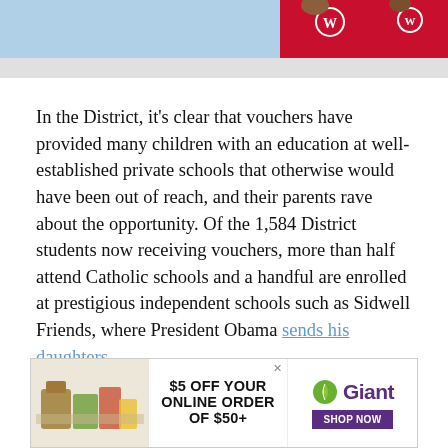[Figure (photo): Partial view of people wearing red Washington Nationals jerseys, cropped at top of page]
In the District, it’s clear that vouchers have provided many children with an education at well-established private schools that otherwise would have been out of reach, and their parents rave about the opportunity. Of the 1,584 District students now receiving vouchers, more than half attend Catholic schools and a handful are enrolled at prestigious independent schools such as Sidwell Friends, where President Obama sends his daughters.
[Figure (photo): Advertisement: $5 OFF YOUR ONLINE ORDER OF $50+ Giant Food grocery store ad with grocery items image and Giant logo with leaf graphic and SHOP NOW button]